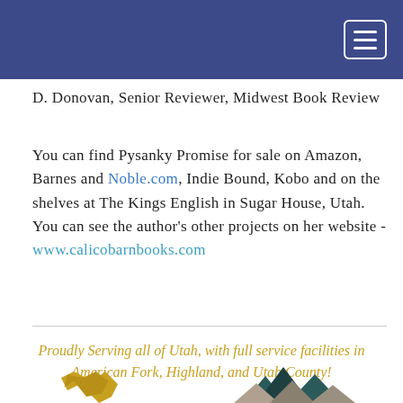D. Donovan, Senior Reviewer, Midwest Book Review
You can find Pysanky Promise for sale on Amazon, Barnes and Noble.com, Indie Bound, Kobo and on the shelves at The Kings English in Sugar House, Utah. You can see the author’s other projects on her website - www.calicobarnbooks.com
Proudly Serving all of Utah, with full service facilities in American Fork, Highland, and Utah County!
[Figure (logo): Partial logo with eagle/bird and mountain silhouettes at the bottom of the page]